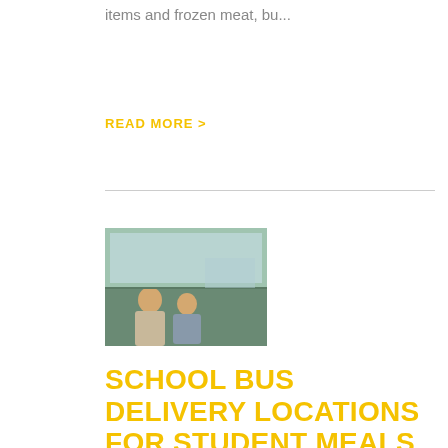items and frozen meat, bu...
READ MORE >
[Figure (photo): Two people sitting inside a school bus, viewed from inside the bus looking forward]
SCHOOL BUS DELIVERY LOCATIONS FOR STUDENT MEALS
Fayetteville Pubic Schools delivered 536 meals today to students age 18 or younger! Please review the list below and stop by and see us tomorrow and Friday for FREE student meals!S...